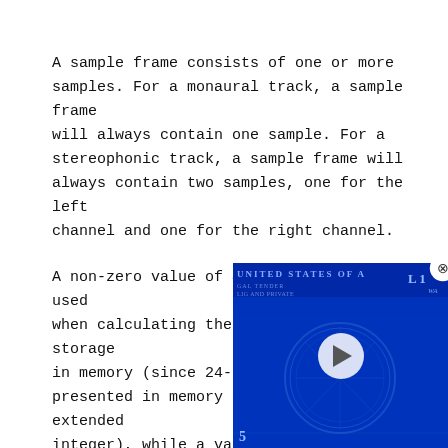A sample frame consists of one or more samples. For a monaural track, a sample frame will always contain one sample. For a stereophonic track, a sample frame will always contain two samples, one for the left channel and one for the right channel.
A non-zero value of expand3to4 should be used when calculating the frame size for storage in memory (since 24-bit audio data is presented in memory as a 4-byte sign-extended integer), while a value of zero should be used for calculating sto[rage without padding]... padding is added. The pa[dding field is] ignored unless the speci[fication] contains 24-bit audio da[ta].
[Figure (screenshot): A partially visible video overlay showing a blue-tinted US dollar bill image with a play button in the center and a close (X) button in the top-right corner. The text 'UNITED STATES OF A[MERICA]' is visible at the top of the video frame.]